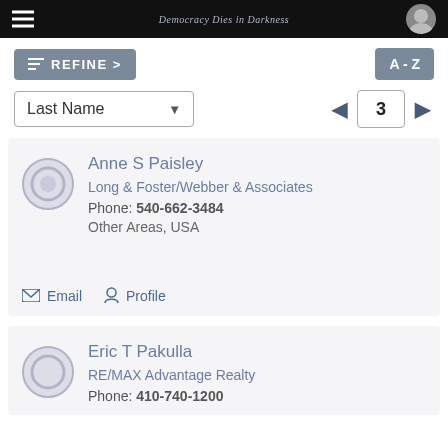Democracy Dies in Darkness
REFINE >
A - Z
Last Name
3
Anne S Paisley
Long & Foster/Webber & Associates
Phone: 540-662-3484
Other Areas, USA
Email   Profile
Eric T Pakulla
RE/MAX Advantage Realty
Phone: 410-740-1200